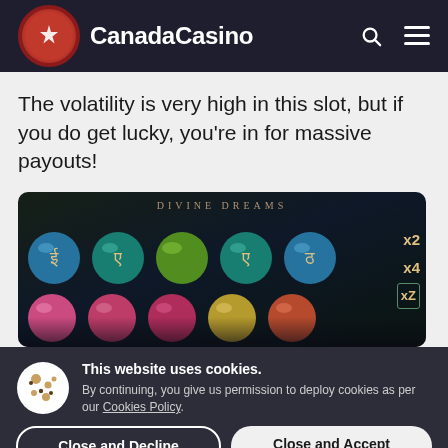CanadaCasino
The volatility is very high in this slot, but if you do get lucky, you're in for massive payouts!
[Figure (screenshot): Screenshot of the Divine Dreams slot game showing colorful gem symbols in blue, green and pink, with multipliers x2, x4, xZ visible on the right side.]
This website uses cookies. By continuing, you give us permission to deploy cookies as per our Cookies Policy.
Close and Decline
Close and Accept